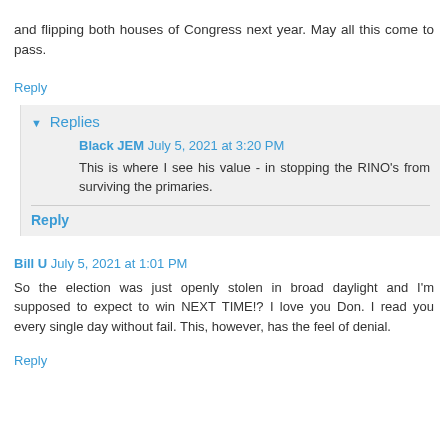and flipping both houses of Congress next year. May all this come to pass.
Reply
Replies
Black JEM July 5, 2021 at 3:20 PM
This is where I see his value - in stopping the RINO's from surviving the primaries.
Reply
Bill U July 5, 2021 at 1:01 PM
So the election was just openly stolen in broad daylight and I'm supposed to expect to win NEXT TIME!? I love you Don. I read you every single day without fail. This, however, has the feel of denial.
Reply